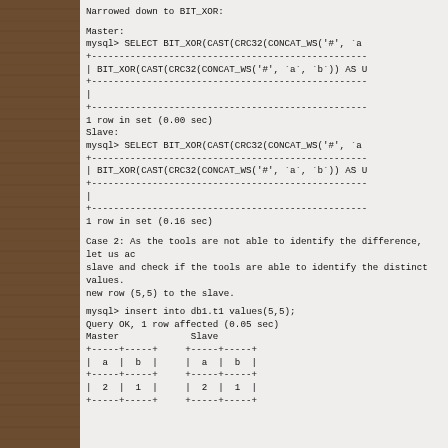Narrowed down to BIT_XOR:
Master:
mysql> SELECT BIT_XOR(CAST(CRC32(CONCAT_WS('#', `a`
+--------------------------------------------------
| BIT_XOR(CAST(CRC32(CONCAT_WS('#', `a`, `b`)) AS U
+--------------------------------------------------
|
+--------------------------------------------------
1 row in set (0.00 sec)
Slave:
mysql> SELECT BIT_XOR(CAST(CRC32(CONCAT_WS('#', `a`
+--------------------------------------------------
| BIT_XOR(CAST(CRC32(CONCAT_WS('#', `a`, `b`)) AS U
+--------------------------------------------------
|
+--------------------------------------------------
1 row in set (0.16 sec)
Case 2: As the tools are not able to identify the difference, let us add a new row to the slave and check if the tools are able to identify the distinct values. We will add a new row (5,5) to the slave.
mysql> insert into db1.t1 values(5,5);
Query OK, 1 row affected (0.05 sec)
Master             Slave
+-----+-----+     +-----+-----+
|  a  |  b  |     |  a  |  b  |
+-----+-----+     +-----+-----+
|  2  |  1  |     |  2  |  1  |
+-----+-----+     +-----+-----+